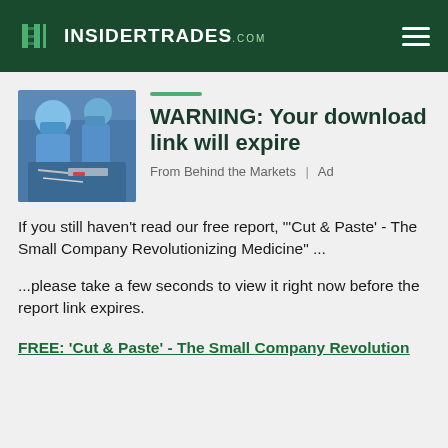InsiderTrades.com
[Figure (photo): Medical professionals in blue scrubs and gloves working with surgical instruments]
WARNING: Your download link will expire
From Behind the Markets | Ad
If you still haven't read our free report, "'Cut & Paste' - The Small Company Revolutionizing Medicine" ...
...please take a few seconds to view it right now before the report link expires.
FREE: 'Cut & Paste' - The Small Company Revolution